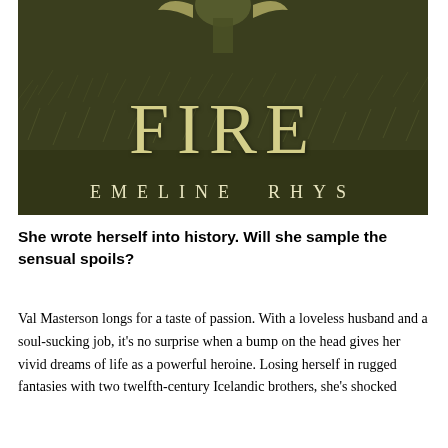[Figure (illustration): Book cover for 'Fire' by Emeline Rhys. Dark background showing grass/ground, with a figure visible at top. Large stylized text 'FIRE' in gold/cream letters and author name 'EMELINE RHYS' in spaced white capitals at the bottom.]
She wrote herself into history. Will she sample the sensual spoils?
Val Masterson longs for a taste of passion. With a loveless husband and a soul-sucking job, it's no surprise when a bump on the head gives her vivid dreams of life as a powerful heroine. Losing herself in rugged fantasies with two twelfth-century Icelandic brothers, she's shocked